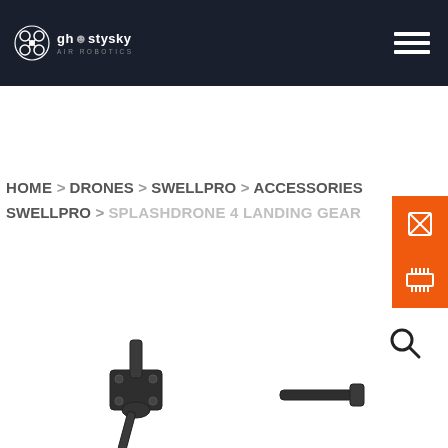ghostysky AIR ROBOTICS
HOME > DRONES > SWELLPRO > ACCESSORIES SWELLPRO > SPLASHDRONE 4 LANDING GEAR
[Figure (photo): Landing gear hardware parts for SplashDrone 4, showing metal mounting components and rods on a white background]
[Figure (other): Orange sidebar buttons with share/tag icon and grid/memory icon]
[Figure (other): Search magnifier icon]